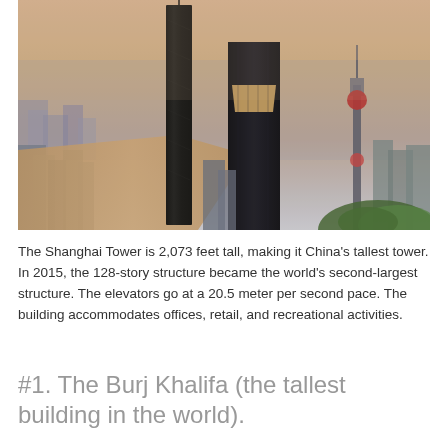[Figure (photo): Aerial photograph of the Shanghai skyline featuring the Shanghai Tower (tallest, twisted skyscraper), the Shanghai World Financial Center (with trapezoidal opening near top), and the Oriental Pearl Tower (with red sphere), with the Huangpu River visible below and the city spreading into a hazy background.]
The Shanghai Tower is 2,073 feet tall, making it China's tallest tower. In 2015, the 128-story structure became the world's second-largest structure. The elevators go at a 20.5 meter per second pace. The building accommodates offices, retail, and recreational activities.
#1. The Burj Khalifa (the tallest building in the world).